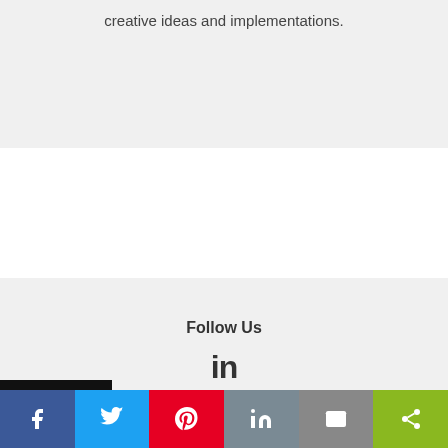creative ideas and implementations.
Follow Us
[Figure (logo): LinkedIn logo icon (in)]
Sign Up For Think Orion's
[Figure (infographic): Social share bar with Facebook, Twitter, Pinterest, LinkedIn, Email, and Share buttons]